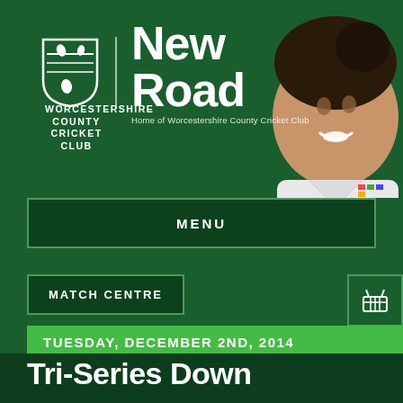[Figure (logo): Worcestershire County Cricket Club shield logo with white pears on dark green background]
New Road
Home of Worcestershire County Cricket Club
WORCESTERSHIRE COUNTY CRICKET CLUB
[Figure (photo): Smiling male cricketer in white kit with dark curly hair, positioned on right side of header]
MENU
MATCH CENTRE
[Figure (illustration): Shopping basket/cart icon in white]
TUESDAY, DECEMBER 2ND, 2014
Tri-Series Down